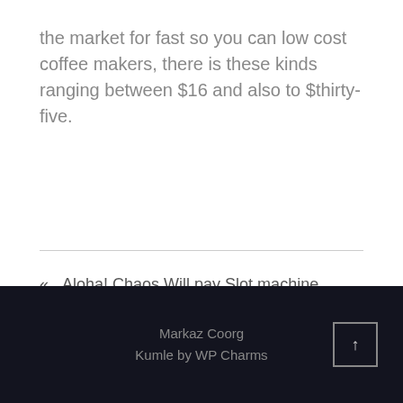the market for fast so you can low cost coffee makers, there is these kinds ranging between $16 and also to $thirty-five.
« Aloha! Chaos Will pay Slot machine Evaluation From Online Entertainment
Lengthy Distance Romances – Some Issues »
Markaz Coorg
Kumle by WP Charms